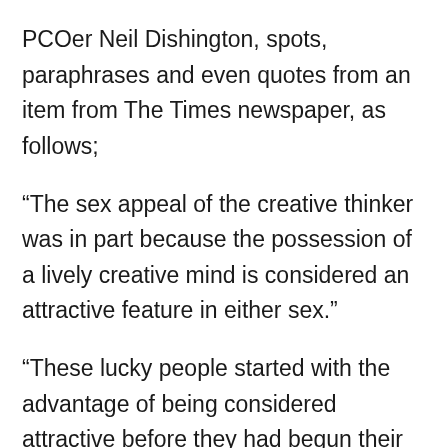PCOer Neil Dishington, spots, paraphrases and even quotes from an item from The Times newspaper, as follows;
“The sex appeal of the creative thinker was in part because the possession of a lively creative mind is considered an attractive feature in either sex.”
“These lucky people started with the advantage of being considered attractive before they had begun their chat-up line.”